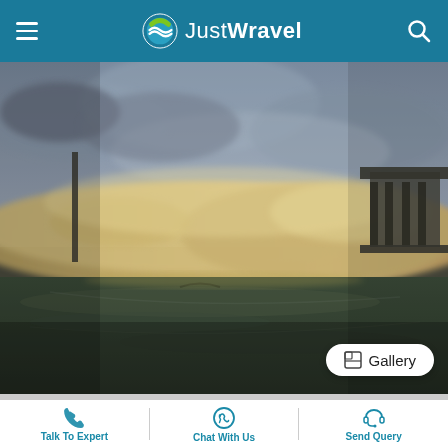JustWravel
[Figure (photo): A dam releasing water with large turbulent yellowish-white waves of water rushing out, viewed from close to the water surface. Dark water in foreground, cloudy overcast sky, dam structure visible on the right side with a watchtower.]
Gallery
Talk To Expert | Chat With Us | Send Query